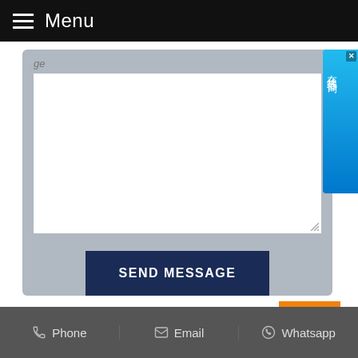Menu
[Figure (screenshot): Web form area with a textarea input, a gray background panel, and a dark navy 'SEND MESSAGE' button. A small Chinese online chat widget appears on the right edge.]
ge
SEND MESSAGE
在线咨询
« Previous
Next »
Phone  Email  Whatsapp